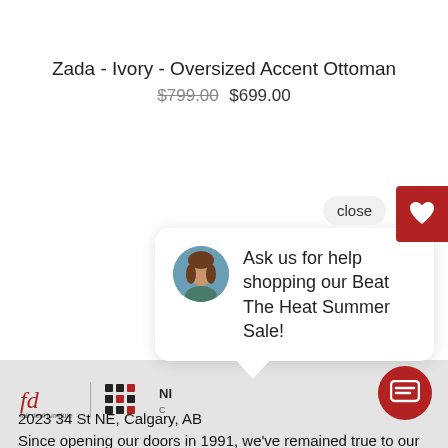Zada - Ivory - Oversized Accent Ottoman
$799.00  $699.00
[Figure (screenshot): Chat popup with avatar photo of woman and text: Ask us for help shopping our Beat The Heat Summer Sale!]
[Figure (logo): Fair Deal Furniture logo and partner logo icons]
Since opening our doors in 1991, we've remained true to our roots of selling quality furniture. Come see us and allow us to help you find the right fit for your home!
2023 34 St NE, Calgary, AB
Email: info@fdfurniture...